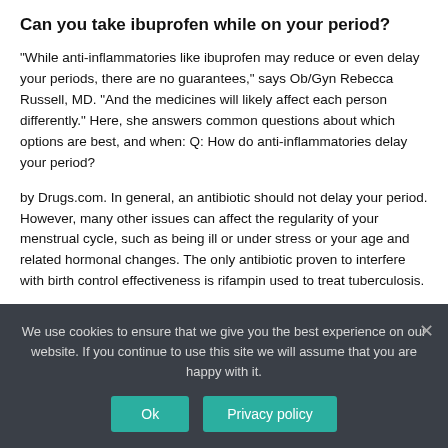Can you take ibuprofen while on your period?
"While anti-inflammatories like ibuprofen may reduce or even delay your periods, there are no guarantees," says Ob/Gyn Rebecca Russell, MD. "And the medicines will likely affect each person differently." Here, she answers common questions about which options are best, and when: Q: How do anti-inflammatories delay your period?
by Drugs.com. In general, an antibiotic should not delay your period. However, many other issues can affect the regularity of your menstrual cycle, such as being ill or under stress or your age and related hormonal changes. The only antibiotic proven to interfere with birth control effectiveness is rifampin used to treat tuberculosis.
We use cookies to ensure that we give you the best experience on our website. If you continue to use this site we will assume that you are happy with it.